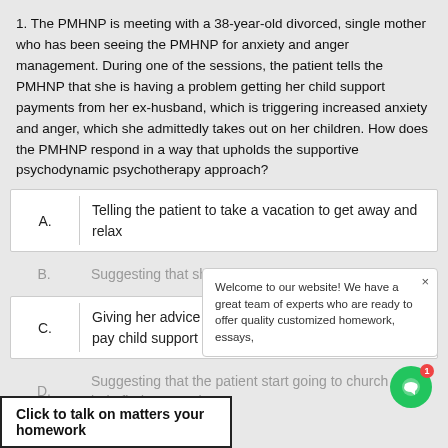1. The PMHNP is meeting with a 38-year-old divorced, single mother who has been seeing the PMHNP for anxiety and anger management. During one of the sessions, the patient tells the PMHNP that she is having a problem getting her child support payments from her ex-husband, which is triggering increased anxiety and anger, which she admittedly takes out on her children. How does the PMHNP respond in a way that upholds the supportive psychodynamic psychotherapy approach?
A. Telling the patient to take a vacation to get away and relax
B. Suggesting that she seek legal help
C. Giving her advice about men and how to get them to pay child support
D. Suggesting that the patient start going to church to help find more solace.
Click to talk on matters your homework